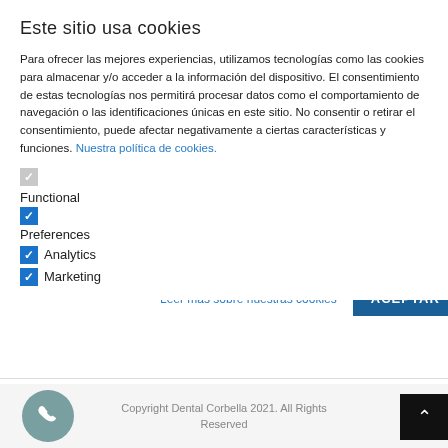Este sitio usa cookies
Para ofrecer las mejores experiencias, utilizamos tecnologías como las cookies para almacenar y/o acceder a la información del dispositivo. El consentimiento de estas tecnologías nos permitirá procesar datos como el comportamiento de navegación o las identificaciones únicas en este sitio. No consentir o retirar el consentimiento, puede afectar negativamente a ciertas características y funciones. Nuestra política de cookies.
Functional
Preferences
Analytics
Marketing
Leer más sobre nuestras cookies
ACEPTAR
Copyright Dental Corbella 2021. All Rights Reserved